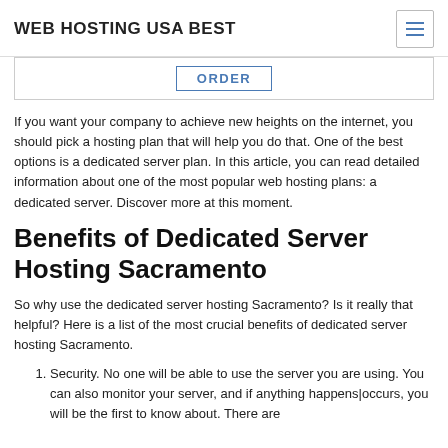WEB HOSTING USA BEST
ORDER
If you want your company to achieve new heights on the internet, you should pick a hosting plan that will help you do that. One of the best options is a dedicated server plan. In this article, you can read detailed information about one of the most popular web hosting plans: a dedicated server. Discover more at this moment.
Benefits of Dedicated Server Hosting Sacramento
So why use the dedicated server hosting Sacramento? Is it really that helpful? Here is a list of the most crucial benefits of dedicated server hosting Sacramento.
Security. No one will be able to use the server you are using. You can also monitor your server, and if anything happens|occurs, you will be the first to know about. There are